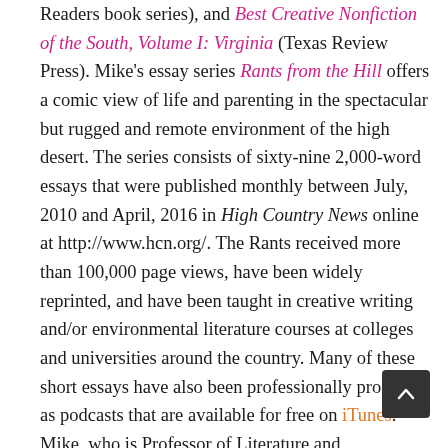Readers book series), and Best Creative Nonfiction of the South, Volume I: Virginia (Texas Review Press). Mike's essay series Rants from the Hill offers a comic view of life and parenting in the spectacular but rugged and remote environment of the high desert. The series consists of sixty-nine 2,000-word essays that were published monthly between July, 2010 and April, 2016 in High Country News online at http://www.hcn.org/. The Rants received more than 100,000 page views, have been widely reprinted, and have been taught in creative writing and/or environmental literature courses at colleges and universities around the country. Many of these short essays have also been professionally produced as podcasts that are available for free on iTunes. Mike, who is Professor of Literature and Environment and University Foundation Professor at the University of Nevada, Reno, is co-founder and past president of the Association for the Study of Literature and Environment (ASLE), served for sixteen years